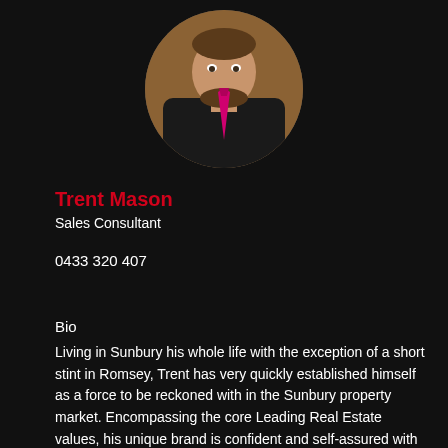[Figure (photo): Circular portrait photo of Trent Mason, a man in a black shirt with a pink/magenta tie, set against a wooden background.]
Trent Mason
Sales Consultant
0433 320 407
Bio
Living in Sunbury his whole life with the exception of a short stint in Romsey, Trent has very quickly established himself as a force to be reckoned with in the Sunbury property market. Encompassing the core Leading Real Estate values, his unique brand is confident and self-assured with an edgy vibe. Trent's clients know he is in their corner each and every step of the way: dedicated, loyal and committed, you'll feel